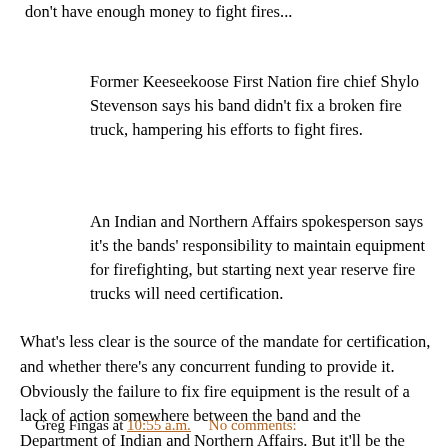don't have enough money to fight fires...
Former Keeseekoose First Nation fire chief Shylo Stevenson says his band didn't fix a broken fire truck, hampering his efforts to fight fires.
An Indian and Northern Affairs spokesperson says it's the bands' responsibility to maintain equipment for firefighting, but starting next year reserve fire trucks will need certification.
What's less clear is the source of the mandate for certification, and whether there's any concurrent funding to provide it. Obviously the failure to fix fire equipment is the result of a lack of action somewhere between the band and the Department of Indian and Northern Affairs. But it'll be the band as a whole that loses out if the broken equipment is needed.
Greg Fingas at 10:55 a.m.   No comments: